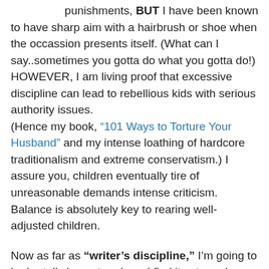in my home. I rule out physical punishments, BUT I have been known to have sharp aim with a hairbrush or shoe when the occassion presents itself. (What can I say..sometimes you gotta do what you gotta do!) HOWEVER, I am living proof that excessive discipline can lead to rebellious kids with serious authority issues. (Hence my book, “101 Ways to Torture Your Husband” and my intense loathing of hardcore traditionalism and extreme conservatism.) I assure you, children eventually tire of unreasonable demands intense criticism. Balance is absolutely key to rearing well-adjusted children.
Now as far as “writer’s discipline,” I’m going to be brutally honest and say I find it extremely difficult to stick to a schedule. (Heck, I can barely make the deadline for my weekly blog!) Don’t get me wrong, I